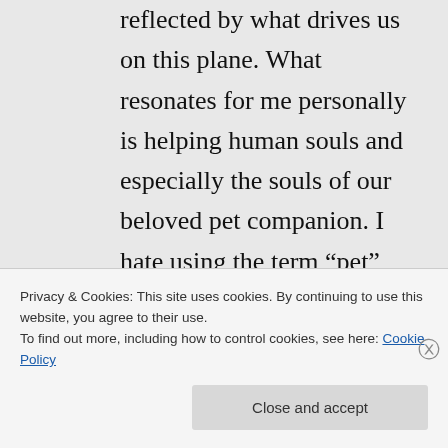reflected by what drives us on this plane. What resonates for me personally is helping human souls and especially the souls of our beloved pet companion. I hate using the term “pet” because of the connotations of ownership but I use it for a lack of a better term. I truly want to be an animal
Privacy & Cookies: This site uses cookies. By continuing to use this website, you agree to their use.
To find out more, including how to control cookies, see here: Cookie Policy